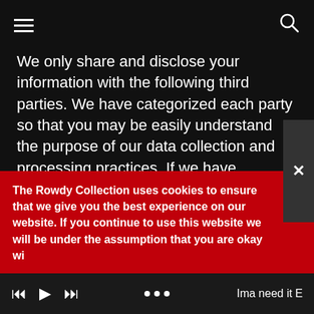hamburger menu | search icon
We only share and disclose your information with the following third parties. We have categorized each party so that you may be easily understand the purpose of our data collection and processing practices. If we have processed your data based on your consent and you wish to revoke your consent, please contact us.
Invoice and Billing
PayPal
The Rowdy Collection uses cookies to ensure that we give you the best experience on our website. If you continue to use this website we will be under the assumption that you are okay with this enhanced experience!
Ima need it E